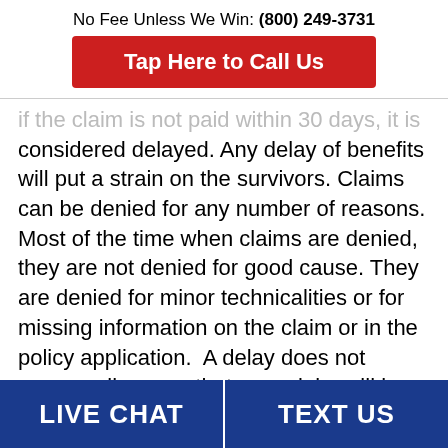No Fee Unless We Win: (800) 249-3731
Tap Here to Call Us
if the claim is not paid within 30 days, it is considered delayed. Any delay of benefits will put a strain on the survivors. Claims can be denied for any number of reasons. Most of the time when claims are denied, they are not denied for good cause. They are denied for minor technicalities or for missing information on the claim or in the policy application.  A delay does not necessarily mean that your claim will be denied but a delay of more than a month or two is just unreasonable.
LIVE CHAT   TEXT US